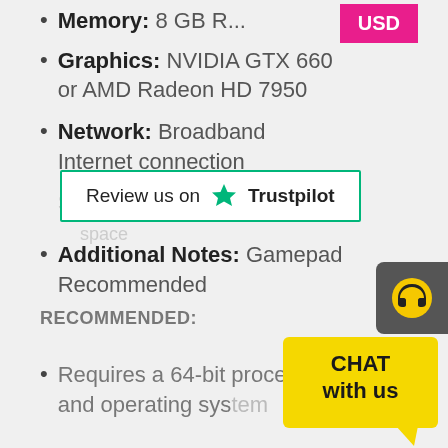Memory: 8 GB R...
Graphics: NVIDIA GTX 660 or AMD Radeon HD 7950
Network: Broadband Internet connection
Storage: 2 GB available space
Additional Notes: Gamepad Recommended
RECOMMENDED:
Requires a 64-bit processor and operating system
[Figure (other): Trustpilot review widget with green star and text 'Review us on Trustpilot']
[Figure (other): USD currency badge in magenta/pink]
[Figure (other): Headset support icon on dark grey background]
[Figure (other): Yellow chat widget with text 'CHAT with us']